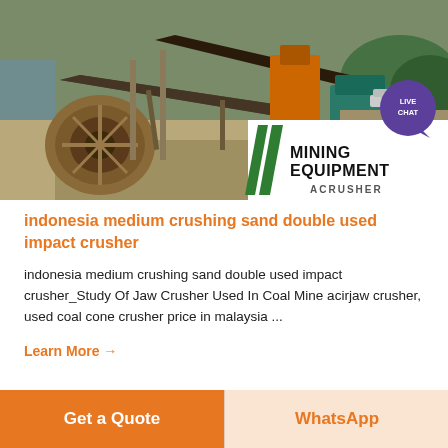[Figure (photo): Mining/crushing equipment facility with heavy machinery including crushers, conveyor belts, and industrial equipment near a river, with MINING EQUIPMENT ACRUSHER branding overlay in the bottom-right corner and a LIVE CHAT speech bubble icon in the top-right.]
indonesia medium crushing sand double used impact crusher
indonesia medium crushing sand double used impact crusher_Study Of Jaw Crusher Used In Coal Mine acirjaw crusher, used coal cone crusher price in malaysia ...
Learn More →
Get a Quote
WhatsApp